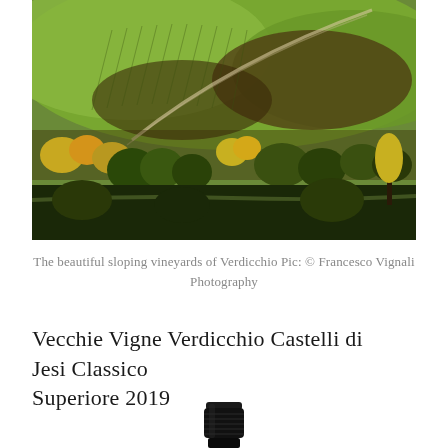[Figure (photo): Aerial/landscape photograph of beautiful sloping vineyards of Verdicchio with green rolling hills, rows of vines, autumn trees, and golden foliage]
The beautiful sloping vineyards of Verdicchio Pic: © Francesco Vignali Photography
Vecchie Vigne Verdicchio Castelli di Jesi Classico Superiore 2019
[Figure (photo): Top portion of a wine bottle with black foil capsule]